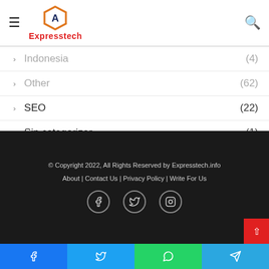Expresstech - navigation header with logo, hamburger menu, and search icon
Indonesia (4)
Other (62)
SEO (22)
Sin categorizar (1)
Technology (105)
Travel (1)
© Copyright 2022, All Rights Reserved by Expresstech.info | About | Contact Us | Privacy Policy | Write For Us
Social icons: Facebook, Twitter, Instagram